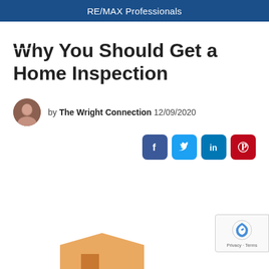RE/MAX Professionals
Why You Should Get a Home Inspection
by The Wright Connection 12/09/2020
[Figure (screenshot): Social media share icons: Facebook, Twitter, LinkedIn, Pinterest]
[Figure (photo): Partial view of a house roof at the bottom of the page]
[Figure (other): reCAPTCHA badge with Privacy and Terms links]